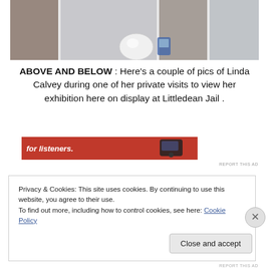[Figure (photo): Partial photograph showing interior architecture with white walls and a spherical white object, likely part of an exhibition at Littledean Jail]
ABOVE AND BELOW : Here’s a couple of pics of Linda Calvey during one of her private visits to view her exhibition here on display at Littledean Jail .
[Figure (screenshot): Red advertisement banner with text 'for listeners.' and image of a remote/device]
REPORT THIS AD
Privacy & Cookies: This site uses cookies. By continuing to use this website, you agree to their use.
To find out more, including how to control cookies, see here: Cookie Policy
Close and accept
REPORT THIS AD